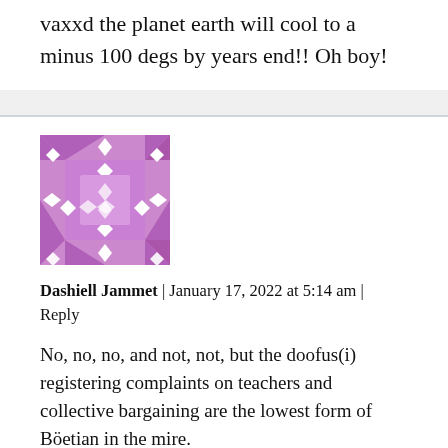vaxxd the planet earth will cool to a minus 100 degs by years end!! Oh boy!
[Figure (illustration): Purple avatar/gravatar icon with diamond pattern border]
Dashiell Jammet | January 17, 2022 at 5:14 am | Reply
No, no, no, and not, not, but the doofus(i) registering complaints on teachers and collective bargaining are the lowest form of Böetian in the mire.
When? “We need temporal and spatial understanding…”
The beings that publish this commit themselves to irredeemable stupor as well